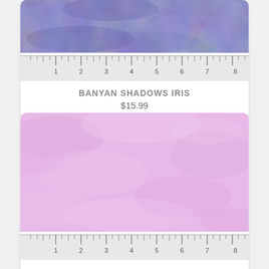[Figure (photo): Purple/iris colored mottled batik fabric swatch with a ruler along the bottom showing measurements 1 through 8 inches]
BANYAN SHADOWS IRIS
$15.99
[Figure (photo): Light pink/lavender colored mottled batik fabric swatch with a ruler along the bottom showing measurements 1 through 8 inches]
BANYAN SHADOWS LAVENDER